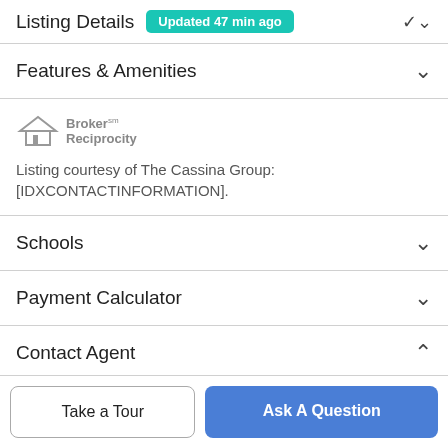Listing Details Updated 47 min ago
Features & Amenities
[Figure (logo): Broker Reciprocity logo — small house icon with 'Broker Reciprocity' text in gray]
Listing courtesy of The Cassina Group: [IDXCONTACTINFORMATION].
Schools
Payment Calculator
Contact Agent
Take a Tour
Ask A Question